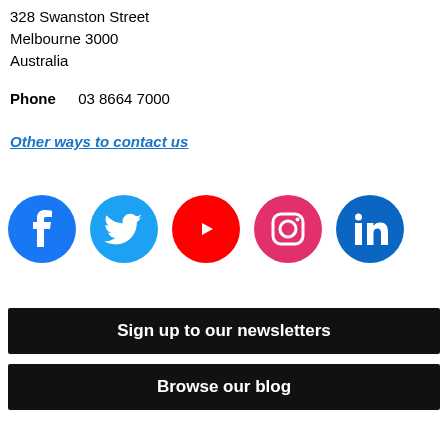328 Swanston Street
Melbourne 3000
Australia
Phone   03 8664 7000
Other ways to contact us
[Figure (infographic): Row of five social media icons: Facebook (blue), Twitter (light blue), YouTube (red), Instagram (pink/magenta), LinkedIn (blue)]
Sign up to our newsletters
Browse our blog